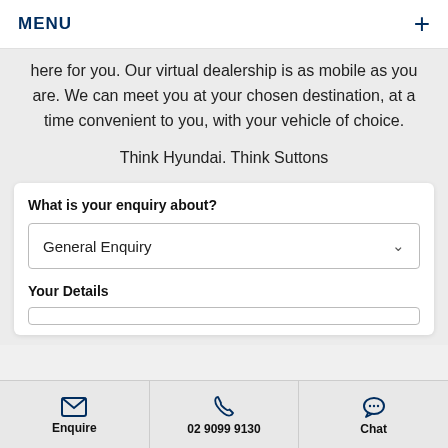MENU
here for you. Our virtual dealership is as mobile as you are. We can meet you at your chosen destination, at a time convenient to you, with your vehicle of choice.
Think Hyundai. Think Suttons
What is your enquiry about?
General Enquiry
Your Details
Enquire   02 9099 9130   Chat